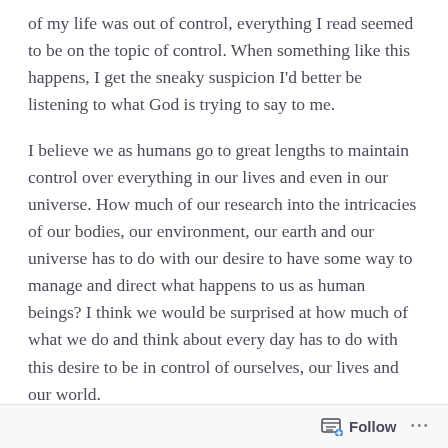of my life was out of control, everything I read seemed to be on the topic of control. When something like this happens, I get the sneaky suspicion I'd better be listening to what God is trying to say to me.
I believe we as humans go to great lengths to maintain control over everything in our lives and even in our universe. How much of our research into the intricacies of our bodies, our environment, our earth and our universe has to do with our desire to have some way to manage and direct what happens to us as human beings? I think we would be surprised at how much of what we do and think about every day has to do with this desire to be in control of ourselves, our lives and our world.
We get even more fanatical about holding tight to the things, people and events in our lives when we have experienced a lot of chaos and dysfunction in our early years or significant attachments. Sometimes this manifests itself in obsessive compulsive disorders, co-dependency and other mental or emotional struggles and illnesses.
Follow ···